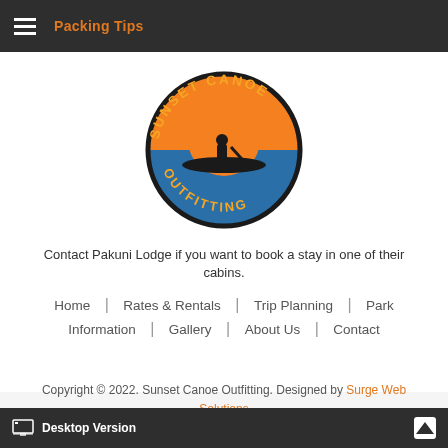Packing Tips
[Figure (logo): Sunset Canoe Outfitting circular logo with canoeist silhouette against sunset orange/blue circle, text reading SUNSET CANOE OUTFITTING around the border]
Contact Pakuni Lodge if you want to book a stay in one of their cabins.
Home
Rates & Rentals
Trip Planning
Park
Information
Gallery
About Us
Contact
Copyright © 2022. Sunset Canoe Outfitting. Designed by Surge Web Solutions
Desktop Version